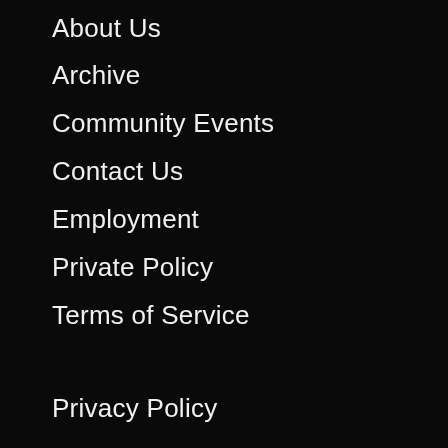About Us
Archive
Community Events
Contact Us
Employment
Private Policy
Terms of Service
[Figure (other): Twitter Follow button with bird icon labeled 'Follow @SanCounty']
Privacy Policy